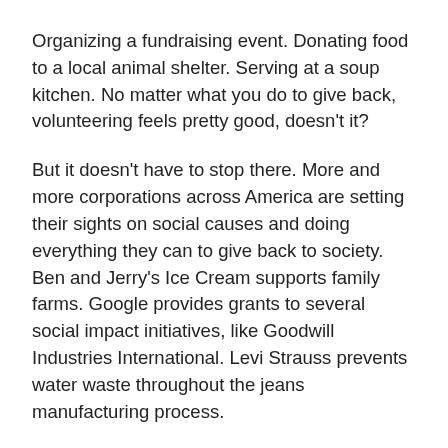Organizing a fundraising event. Donating food to a local animal shelter. Serving at a soup kitchen. No matter what you do to give back, volunteering feels pretty good, doesn't it?
But it doesn't have to stop there. More and more corporations across America are setting their sights on social causes and doing everything they can to give back to society. Ben and Jerry's Ice Cream supports family farms. Google provides grants to several social impact initiatives, like Goodwill Industries International. Levi Strauss prevents water waste throughout the jeans manufacturing process.
More consumers than ever are urging companies to incorporate social responsibility efforts into their business plans. Customers want to give their hard-earned money to establishments that take a hands-